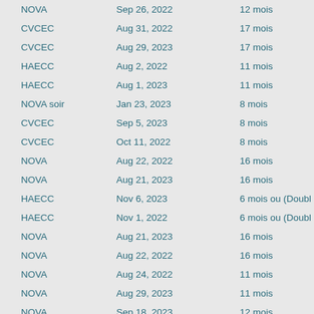| Program | Date | Duration |
| --- | --- | --- |
| NOVA | Sep 26, 2022 | 12 mois |
| CVCEC | Aug 31, 2022 | 17 mois |
| CVCEC | Aug 29, 2023 | 17 mois |
| HAECC | Aug 2, 2022 | 11 mois |
| HAECC | Aug 1, 2023 | 11 mois |
| NOVA soir | Jan 23, 2023 | 8 mois |
| CVCEC | Sep 5, 2023 | 8 mois |
| CVCEC | Oct 11, 2022 | 8 mois |
| NOVA | Aug 22, 2022 | 16 mois |
| NOVA | Aug 21, 2023 | 16 mois |
| HAECC | Nov 6, 2023 | 6 mois ou (Doubl… |
| HAECC | Nov 1, 2022 | 6 mois ou (Doubl… |
| NOVA | Aug 21, 2023 | 16 mois |
| NOVA | Aug 22, 2022 | 16 mois |
| NOVA | Aug 24, 2022 | 11 mois |
| NOVA | Aug 29, 2023 | 11 mois |
| NOVA | Sep 18, 2023 | 12 mois |
| NOVA | Sep 19, 2022 |  |
| NOVA soir | Sep 19, 2022 |  |
| NOVA soir | Jan 23, 2023 | 6 mois |
| NOVA soir | Sep 11, 2023 | 6 mois |
| NOVA soir | Sep 8, 2022 | 6 mois |